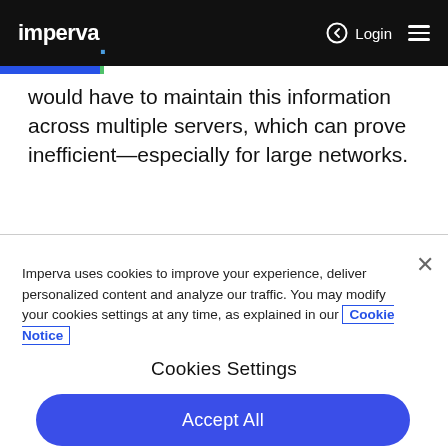imperva  Login ☰
would have to maintain this information across multiple servers, which can prove inefficient—especially for large networks.
Imperva uses cookies to improve your experience, deliver personalized content and analyze our traffic. You may modify your cookies settings at any time, as explained in our Cookie Notice
Cookies Settings
Accept All